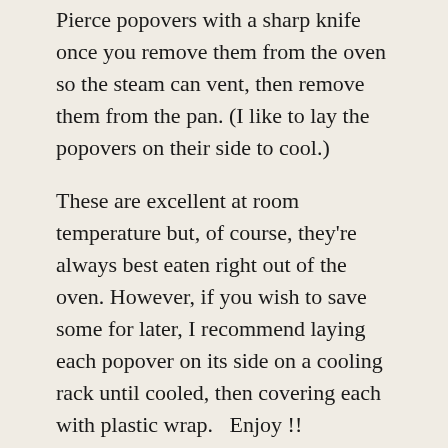Pierce popovers with a sharp knife once you remove them from the oven so the steam can vent, then remove them from the pan. (I like to lay the popovers on their side to cool.)
These are excellent at room temperature but, of course, they're always best eaten right out of the oven. However, if you wish to save some for later, I recommend laying each popover on its side on a cooling rack until cooled, then covering each with plastic wrap.   Enjoy !!
'The Popover Experiment'  – Recipe No 2  – Julia Child's Recipe –  Popovers are slightly higher than the 1st recipe & the insides are slightly drier. (Of course they're delicious – it's from Julia Child !)